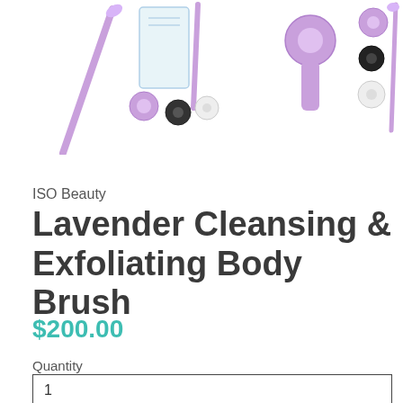[Figure (photo): Three product images of the ISO Beauty Lavender Cleansing & Exfoliating Body Brush set shown from different angles, featuring lavender/purple colored brushes and attachments against a white background.]
ISO Beauty
Lavender Cleansing & Exfoliating Body Brush
$200.00
Quantity
1